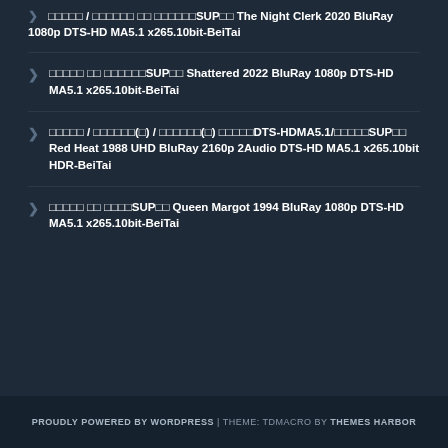□□□□□ / □□□□□□ □□ □□□□□□SUP□□ The Night Clerk 2020 BluRay 1080p DTS-HD MA5.1 x265.10bit-BeiTai
□□□□□ □□ □□□□□□SUP□□ Shattered 2022 BluRay 1080p DTS-HD MA5.1 x265.10bit-BeiTai
□□□□□ / □□□□□□(□) / □□□□□□(□) □□□□□DTS-HDMA5.1/□□□□□SUP□□ Red Heat 1988 UHD BluRay 2160p 2Audio DTS-HD MA5.1 x265.10bit HDR-BeiTai
□□□□□ □□ □□□□SUP□□ Queen Margot 1994 BluRay 1080p DTS-HD MA5.1 x265.10bit-BeiTai
PROUDLY POWERED BY WORDPRESS | THEME: TDMACRO BY THEMES HARBOR